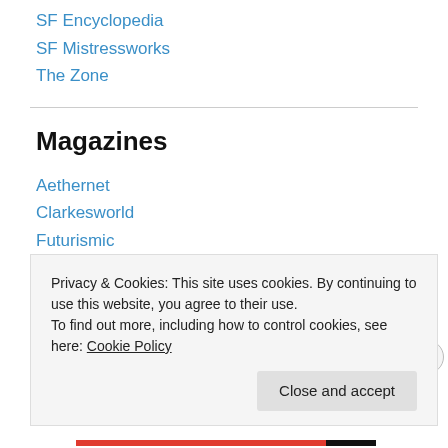SF Encyclopedia
SF Mistressworks
The Zone
Magazines
Aethernet
Clarkesworld
Futurismic
Interzone
Jupiter
Locus Online
Privacy & Cookies: This site uses cookies. By continuing to use this website, you agree to their use. To find out more, including how to control cookies, see here: Cookie Policy